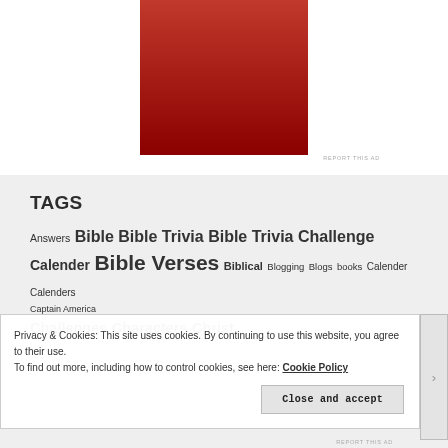[Figure (photo): Red background advertisement image, partial view showing dark red/crimson gradient]
REPORT THIS AD
TAGS
Answers Bible Bible Trivia Bible Trivia Challenge Calender Bible Verses Biblical Blogging Blogs books Calender Calenders Captain America Challenges Characters Christ
Privacy & Cookies: This site uses cookies. By continuing to use this website, you agree to their use.
To find out more, including how to control cookies, see here: Cookie Policy
Close and accept
REPORT THIS AD